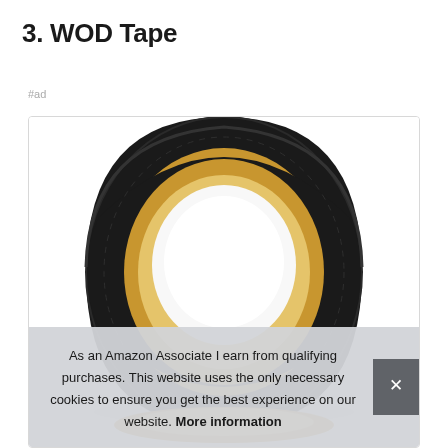3. WOD Tape
#ad
[Figure (photo): A roll of black WOD tape (athletic/weightlifting tape) shown upright on a white background, with a tan/gold cardboard core visible, inside a white bordered product image box.]
As an Amazon Associate I earn from qualifying purchases. This website uses the only necessary cookies to ensure you get the best experience on our website. More information